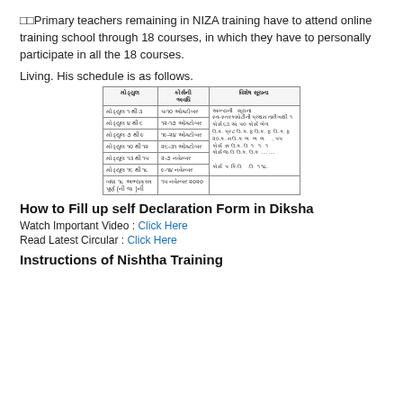□□Primary teachers remaining in NIZA training have to attend online training school through 18 courses, in which they have to personally participate in all the 18 courses.
Living. His schedule is as follows.
[Figure (table-as-image): Schedule table in Gujarati showing module numbers with date ranges and instructions]
How to Fill up self Declaration Form in Diksha
Watch Important Video : Click Here
Read Latest Circular : Click Here
Instructions of Nishtha Training